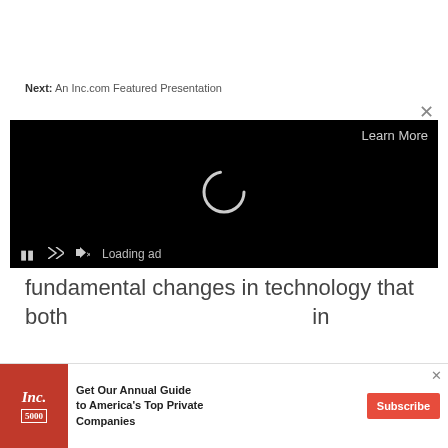Next: An Inc.com Featured Presentation
[Figure (screenshot): Video player with black background showing a loading spinner (circular arc), Learn More button top right, close X button, and playback controls at bottom including pause, fullscreen, mute, and Loading ad text]
fundamental changes in technology that both in
[Figure (screenshot): Inc. magazine advertisement banner with red magazine cover thumbnail showing 5000, text reading Get Our Annual Guide to America's Top Private Companies, and a red Subscribe button]